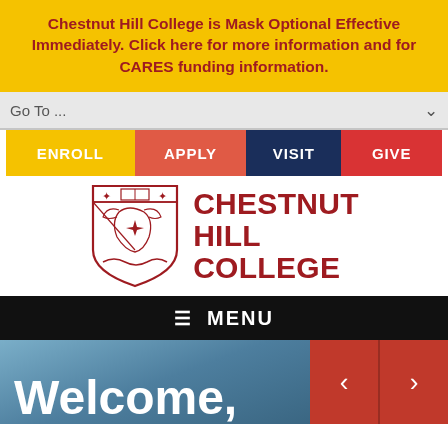Chestnut Hill College is Mask Optional Effective Immediately. Click here for more information and for CARES funding information.
[Figure (screenshot): Go To ... dropdown navigation element]
[Figure (infographic): Navigation buttons: ENROLL (yellow), APPLY (red-orange), VISIT (dark navy), GIVE (red)]
[Figure (logo): Chestnut Hill College logo with shield crest and red text reading CHESTNUT HILL COLLEGE]
≡ MENU
Welcome,